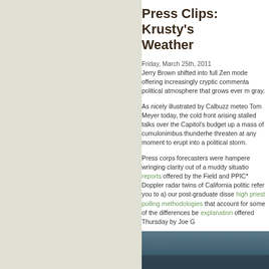Press Clips: Krusty's Weather
Friday, March 25th, 2011
Jerry Brown shifted into full Zen mode offering increasingly cryptic commentary on a political atmosphere that grows ever more gray.
As nicely illustrated by Calbuzz meteo Tom Meyer today, the cold front arising stalled talks over the Capitol's budget up a mass of cumulonimbus thunderhe threaten at any moment to erupt into a political storm.
Press corps forecasters were hampere wringing clarity out of a muddy situatio reports offered by the Field and PPIC* Doppler radar twins of California politic refer you to a) our post-graduate disse high priest polling methodologies that account for some of the differences be explanation offered Thursday by Joe G
[Figure (photo): Dark blue-gray image, appears to be a weather or landscape photo]